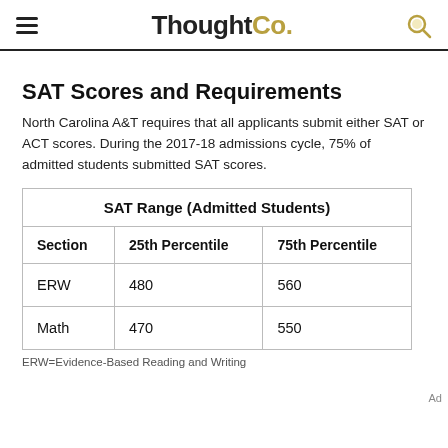ThoughtCo.
SAT Scores and Requirements
North Carolina A&T requires that all applicants submit either SAT or ACT scores. During the 2017-18 admissions cycle, 75% of admitted students submitted SAT scores.
| Section | 25th Percentile | 75th Percentile |
| --- | --- | --- |
| ERW | 480 | 560 |
| Math | 470 | 550 |
ERW=Evidence-Based Reading and Writing